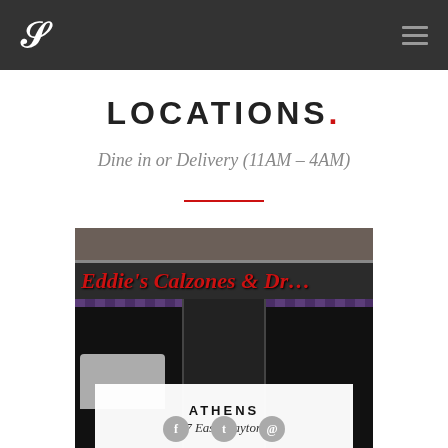Eddie's Calzones (logo + navigation bar)
LOCATIONS.
Dine in or Delivery (11AM – 4AM)
[Figure (photo): Exterior photo of Eddie's Calzones & Drafts restaurant storefront with red cursive sign, dark facade, glass doors, and tiled entrance]
ATHENS
227 East Clayton St